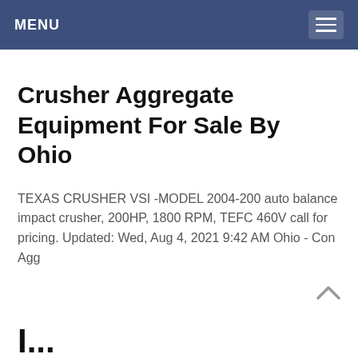MENU
Crusher Aggregate Equipment For Sale By Ohio
TEXAS CRUSHER VSI -MODEL 2004-200 auto balance impact crusher, 200HP, 1800 RPM, TEFC 460V call for pricing. Updated: Wed, Aug 4, 2021 9:42 AM Ohio - Con Agg